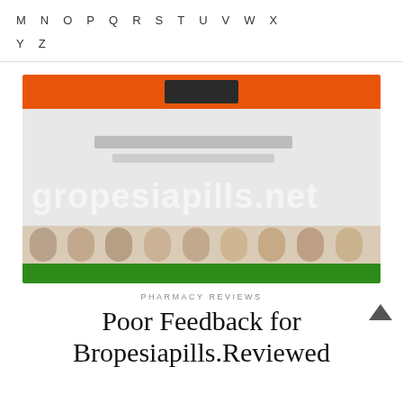M N O P Q R S T U V W X Y Z
[Figure (screenshot): Blurred screenshot of a pharmacy website with Indian flag colors (orange, white, green) and a watermark reading 'gropesiapills.net'. People visible in the lower portion of the image.]
PHARMACY REVIEWS
Poor Feedback for Bropesiapills.Reviewed